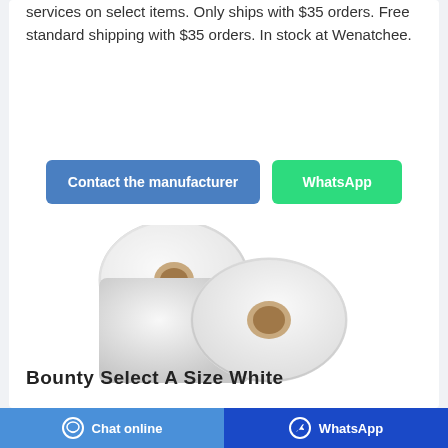services on select items. Only ships with $35 orders. Free standard shipping with $35 orders. In stock at Wenatchee.
[Figure (illustration): Two white toilet paper rolls side by side on a white background]
Bounty Select A Size White
Chat online | WhatsApp